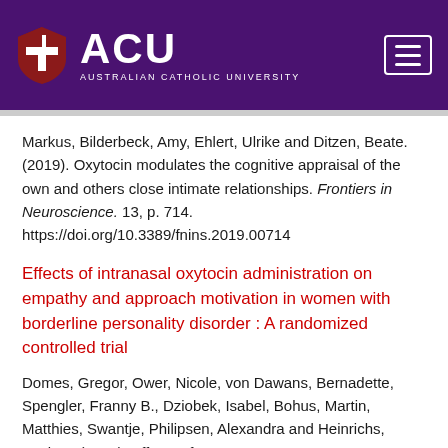[Figure (logo): Australian Catholic University (ACU) logo with shield and text on purple header bar with hamburger menu icon]
Markus, Bilderbeck, Amy, Ehlert, Ulrike and Ditzen, Beate. (2019). Oxytocin modulates the cognitive appraisal of the own and others close intimate relationships. Frontiers in Neuroscience. 13, p. 714. https://doi.org/10.3389/fnins.2019.00714
Effects of intranasal oxytocin administration on empathy and approach motivation in women with borderline personality disorder : A randomized controlled trial
Domes, Gregor, Ower, Nicole, von Dawans, Bernadette, Spengler, Franny B., Dziobek, Isabel, Bohus, Martin, Matthies, Swantje, Philipsen, Alexandra and Heinrichs, Markus. (2019). Effects of...